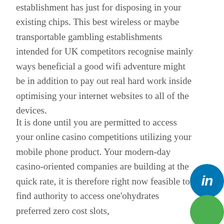establishment has just for disposing in your existing chips. This best wireless or maybe transportable gambling establishments intended for UK competitors recognise mainly ways beneficial a good wifi adventure might be in addition to pay out real hard work inside optimising your internet websites to all of the devices.
It is done until you are permitted to access your online casino competitions utilizing your mobile phone product. Your modern-day casino-oriented companies are building at the quick rate, it is therefore right now feasible to find authority to access one'ohydrates preferred zero cost slots,